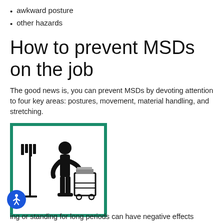awkward posture
other hazards
How to prevent MSDs on the job
The good news is, you can prevent MSDs by devoting attention to four key areas: postures, movement, material handling, and stretching.
[Figure (illustration): Black silhouette of a person standing at a work cart with shelves, with a tool rack to their left. Framed by a thick teal/green border.]
1. Check your posture
ing or standing for long periods can have negative effects